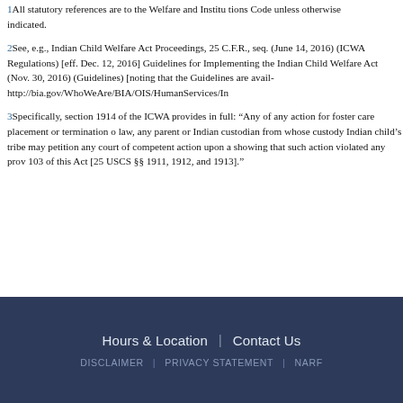1All statutory references are to the Welfare and Institutions Code unless otherwise indicated.
2See, e.g., Indian Child Welfare Act Proceedings, 25 C.F.R. seq. (June 14, 2016) (ICWA Regulations) [eff. Dec. 12, 2016]; Guidelines for Implementing the Indian Child Welfare Act (Nov. 30, 2016) (Guidelines) [noting that the Guidelines are available at http://bia.gov/WhoWeAre/BIA/OIS/HumanServices/In
3Specifically, section 1914 of the ICWA provides in full: "Any Indian tribe which has tribal jurisdiction over any Indian child, or any parent or Indian custodian from whose custody such child was removed, or the Indian child's tribe may petition any court of competent jurisdiction to invalidate such action upon a showing that such action violated any provision of sections 101, 102, and 103 of this Act [25 USCS §§ 1911, 1912, and 1913]."
Hours & Location | Contact Us | DISCLAIMER | PRIVACY STATEMENT | NARF